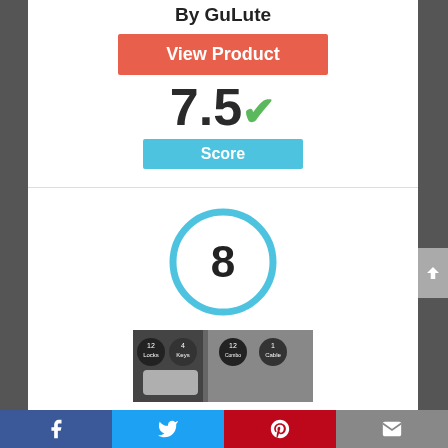By GuLute
View Product
7.5 ✓
Score
[Figure (infographic): Blue circle outline with the number 8 inside]
[Figure (photo): Product image showing locks and keys packaging]
Facebook | Twitter | Pinterest | Email social share bar